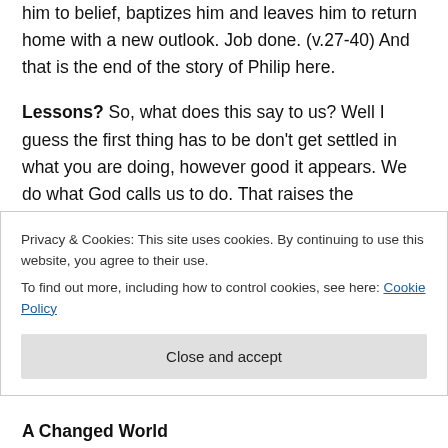him to belief, baptizes him and leaves him to return home with a new outlook. Job done. (v.27-40) And that is the end of the story of Philip here.
Lessons? So, what does this say to us? Well I guess the first thing has to be don't get settled in what you are doing, however good it appears. We do what God calls us to do. That raises the question, do I know that what I am doing in life is God-called? Do I have the confidence that I can be at peace in my calling, getting on with life doing the stuff He puts before me, taking the opportunities He puts before me? But maybe we should add, am I sufficiently secure in
Privacy & Cookies: This site uses cookies. By continuing to use this website, you agree to their use.
To find out more, including how to control cookies, see here: Cookie Policy
A Changed World